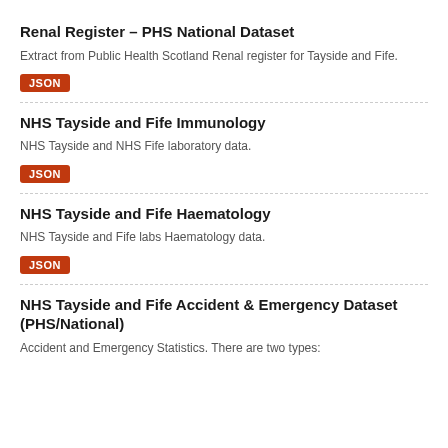Renal Register – PHS National Dataset
Extract from Public Health Scotland Renal register for Tayside and Fife.
JSON
NHS Tayside and Fife Immunology
NHS Tayside and NHS Fife laboratory data.
JSON
NHS Tayside and Fife Haematology
NHS Tayside and Fife labs Haematology data.
JSON
NHS Tayside and Fife Accident & Emergency Dataset (PHS/National)
Accident and Emergency Statistics. There are two types: